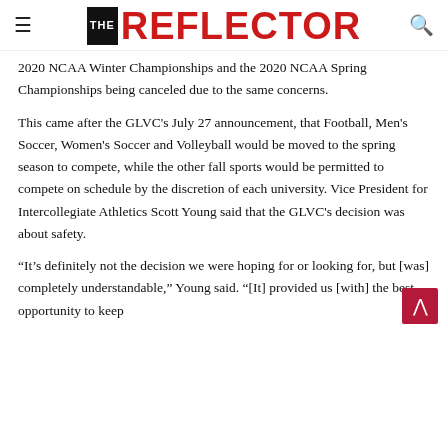THE REFLECTOR
2020 NCAA Winter Championships and the 2020 NCAA Spring Championships being canceled due to the same concerns.
This came after the GLVC's July 27 announcement, that Football, Men's Soccer, Women's Soccer and Volleyball would be moved to the spring season to compete, while the other fall sports would be permitted to compete on schedule by the discretion of each university. Vice President for Intercollegiate Athletics Scott Young said that the GLVC's decision was about safety.
“It’s definitely not the decision we were hoping for or looking for, but [was] completely understandable,” Young said. “[It] provided us [with] the best opportunity to keep